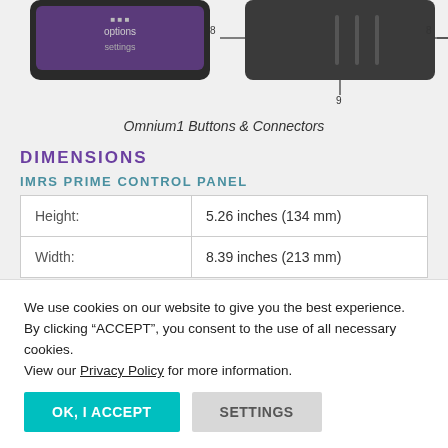[Figure (photo): Omnium1 tablet showing buttons and connectors labeled with numbers 8 and 9]
Omnium1 Buttons & Connectors
DIMENSIONS
IMRS PRIME CONTROL PANEL
|  |  |
| --- | --- |
| Height: | 5.26 inches (134 mm) |
| Width: | 8.39 inches (213 mm) |
We use cookies on our website to give you the best experience. By clicking “ACCEPT”, you consent to the use of all necessary cookies.
View our Privacy Policy for more information.
OK, I ACCEPT    SETTINGS